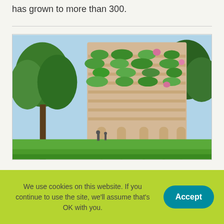has grown to more than 300.
[Figure (photo): A tall high-rise building covered with greenery and plants on its balconies and facade, surrounded by trees and green lawns. People are visible in the foreground on the grass.]
Greenery-covered high-rise will
We use cookies on this website. If you continue to use the site, we'll assume that's OK with you.